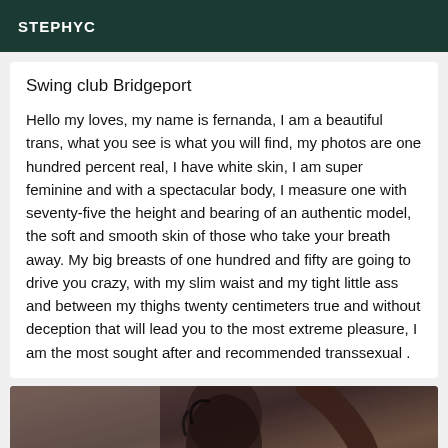STEPHYC
Swing club Bridgeport
Hello my loves, my name is fernanda, I am a beautiful trans, what you see is what you will find, my photos are one hundred percent real, I have white skin, I am super feminine and with a spectacular body, I measure one with seventy-five the height and bearing of an authentic model, the soft and smooth skin of those who take your breath away. My big breasts of one hundred and fifty are going to drive you crazy, with my slim waist and my tight little ass and between my thighs twenty centimeters true and without deception that will lead you to the most extreme pleasure, I am the most sought after and recommended transsexual .
[Figure (photo): Photo of a person with curly dark hair, partially visible against a light background]